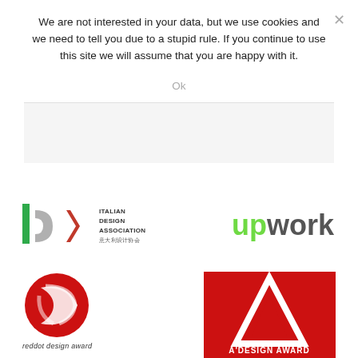We are not interested in your data, but we use cookies and we need to tell you due to a stupid rule. If you continue to use this site we will assume that you are happy with it.
Ok
[Figure (other): Gray rectangular area below cookie notice, representing an advertisement or content placeholder]
[Figure (logo): Italian Design Association (IDA) logo with green and red letterforms and Chinese text 意大利设计协会]
[Figure (logo): Upwork logo in dark gray with green 'up' portion]
[Figure (logo): Red Dot Design Award logo — red circular globe mark]
reddot design award
[Figure (logo): A'Design Award logo — red background with white triangle/arrow mark and white text A'DESIGN AWARD]